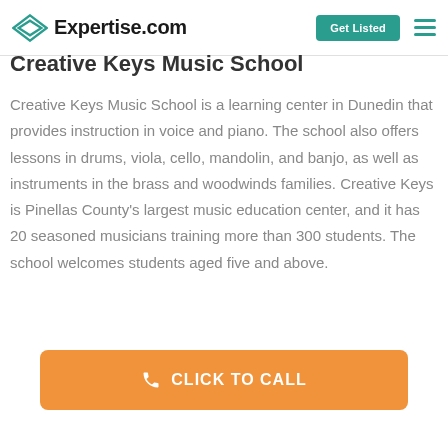Expertise.com — Get Listed
Creative Keys Music School
Creative Keys Music School is a learning center in Dunedin that provides instruction in voice and piano. The school also offers lessons in drums, viola, cello, mandolin, and banjo, as well as instruments in the brass and woodwinds families. Creative Keys is Pinellas County's largest music education center, and it has 20 seasoned musicians training more than 300 students. The school welcomes students aged five and above.
[Figure (other): Orange button with phone icon and text CLICK TO CALL]